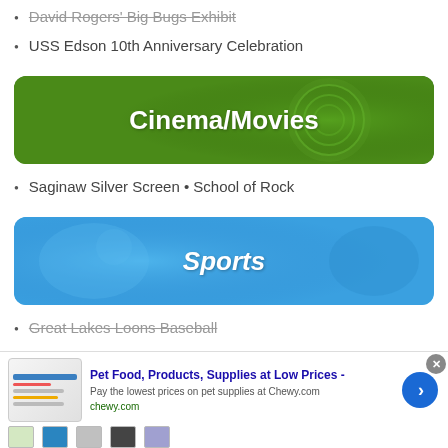David Rogers' Big Bugs Exhibit
USS Edson 10th Anniversary Celebration
[Figure (infographic): Green banner with text Cinema/Movies, styled with a camera lens background]
Saginaw Silver Screen • School of Rock
[Figure (infographic): Blue banner with text Sports, styled with sports crowd background]
Great Lakes Loons Baseball
[Figure (infographic): Advertisement banner for Chewy.com: Pet Food, Products, Supplies at Low Prices - Pay the lowest prices on pet supplies at Chewy.com]